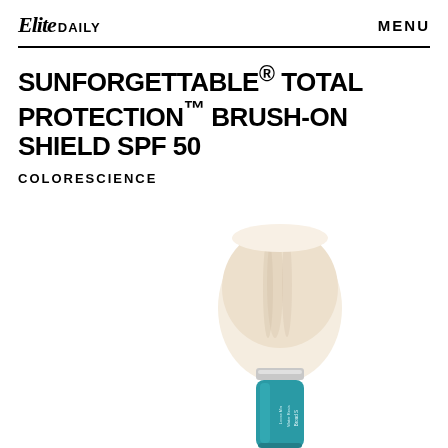Elite DAILY   MENU
SUNFORGETTABLE® TOTAL PROTECTION™ BRUSH-ON SHIELD SPF 50
COLORESCIENCE
[Figure (photo): Colorescience Sunforgettable Total Protection Brush-On Shield SPF 50 product — a soft white powder brush on top of a teal/turquoise cylindrical container with product labeling visible]